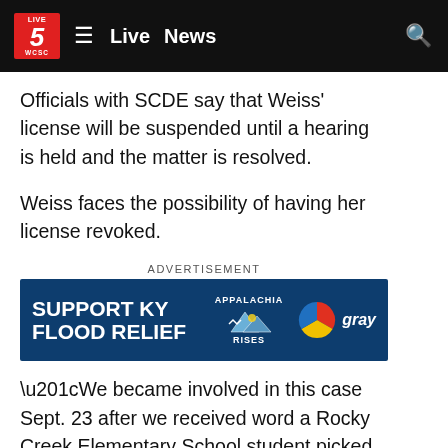Live 5 WCSC — Live News
Officials with SCDE say that Weiss' license will be suspended until a hearing is held and the matter is resolved.
Weiss faces the possibility of having her license revoked.
[Figure (infographic): Advertisement banner: SUPPORT KY FLOOD RELIEF — Appalachia Rises — Gray logo]
“We became involved in this case Sept. 23 after we received word a Rocky Creek Elementary School student picked a pack of marijuana edibles out of a box full of candy Weiss used to reward students,” said Koon. “Detectives confirmed during interviews that Weiss took